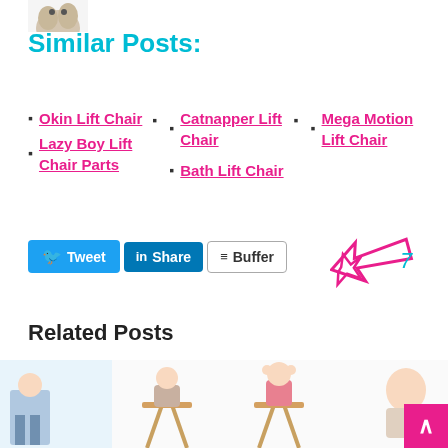[Figure (photo): Partial image of a stuffed animal or plush toy at top left]
Similar Posts:
Okin Lift Chair
Catnapper Lift Chair
Mega Motion Lift Chair
Lazy Boy Lift Chair Parts
Bath Lift Chair
[Figure (screenshot): Social share buttons: Tweet, Share (LinkedIn), Buffer]
[Figure (illustration): Decorative pink arrow/star doodle with number 7]
Related Posts
[Figure (photo): Thumbnail images of children on chairs/furniture]